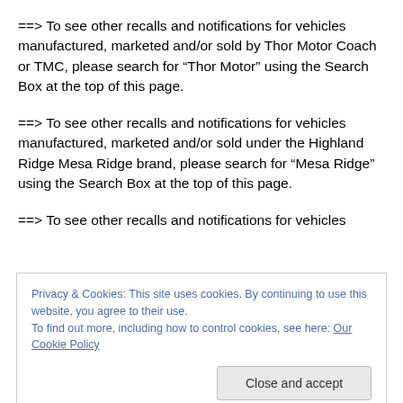==> To see other recalls and notifications for vehicles manufactured, marketed and/or sold by Thor Motor Coach or TMC, please search for “Thor Motor” using the Search Box at the top of this page.
==> To see other recalls and notifications for vehicles manufactured, marketed and/or sold under the Highland Ridge Mesa Ridge brand, please search for “Mesa Ridge” using the Search Box at the top of this page.
==> To see other recalls and notifications for vehicles
Privacy & Cookies: This site uses cookies. By continuing to use this website, you agree to their use.
To find out more, including how to control cookies, see here: Our Cookie Policy
Close and accept
hazards, please search for “crash” using the Search Box